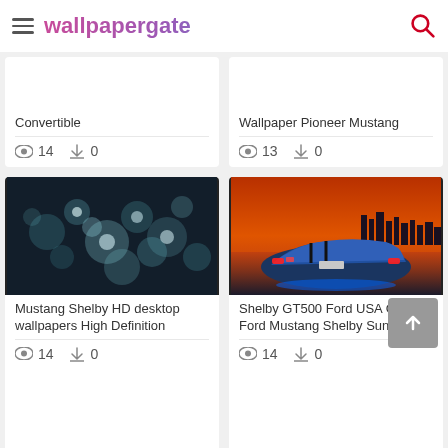wallpapergate
Convertible
14  0
Wallpaper Pioneer Mustang
13  0
[Figure (photo): Bokeh lights on dark background - Mustang Shelby HD desktop wallpapers High Definition]
Mustang Shelby HD desktop wallpapers High Definition
14  0
[Figure (photo): Blue Ford Mustang Shelby GT500 rear view against orange sunset skyline - Shelby GT500 Ford USA Car Ford Mustang Shelby Sunrise]
Shelby GT500 Ford USA Car Ford Mustang Shelby Sunrise
14  0
[Figure (photo): Partial view of car thumbnail at bottom left]
[Figure (photo): Dark/black thumbnail at bottom right]